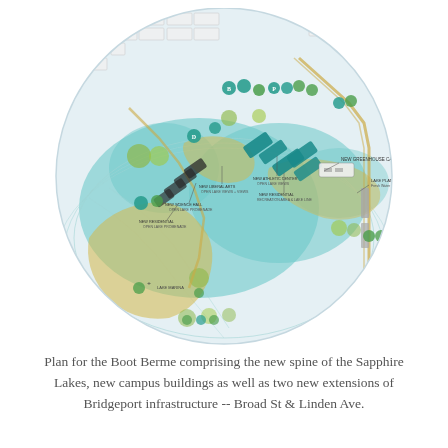[Figure (map): Circular plan map of the Boot Berme area showing Sapphire Lakes, new campus buildings, athletic centers, residential halls, and two new infrastructure extensions along Broad St and Linden Ave. Features teal water areas, yellow sandy berms, green landscape zones, and building footprints with labeled annotation points.]
Plan for the Boot Berme comprising the new spine of the Sapphire Lakes, new campus buildings as well as two new extensions of Bridgeport infrastructure -- Broad St & Linden Ave.